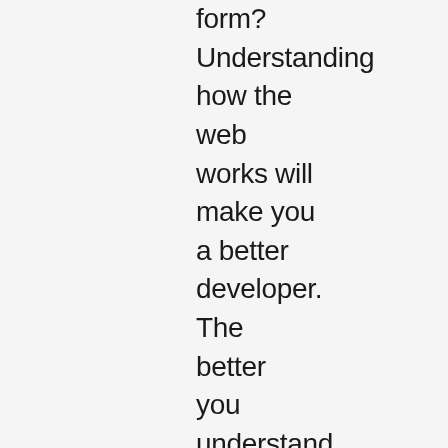form? Understanding how the web works will make you a better developer. The better you understand the web, the easier it will be to build websites